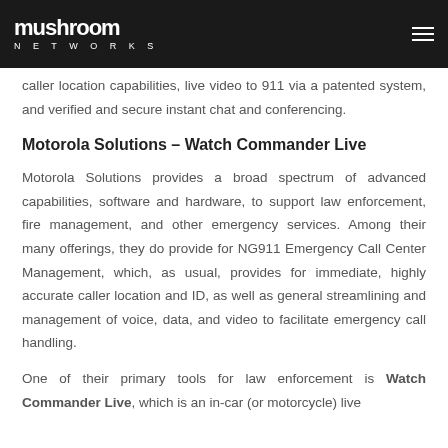mushroom NETWORKS
caller location capabilities, live video to 911 via a patented system, and verified and secure instant chat and conferencing.
Motorola Solutions – Watch Commander Live
Motorola Solutions provides a broad spectrum of advanced capabilities, software and hardware, to support law enforcement, fire management, and other emergency services. Among their many offerings, they do provide for NG911 Emergency Call Center Management, which, as usual, provides for immediate, highly accurate caller location and ID, as well as general streamlining and management of voice, data, and video to facilitate emergency call handling.
One of their primary tools for law enforcement is Watch Commander Live, which is an in-car (or motorcycle) live